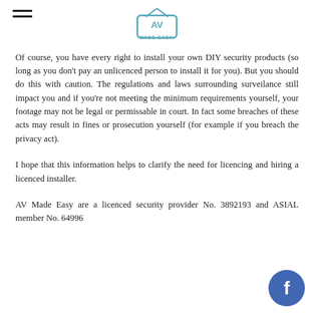AV Made Easy logo and hamburger menu
Of course, you have every right to install your own DIY security products (so long as you don't pay an unlicenced person to install it for you). But you should do this with caution. The regulations and laws surrounding surveilance still impact you and if you're not meeting the minimum requirements yourself, your footage may not be legal or permissable in court. In fact some breaches of these acts may result in fines or prosecution yourself (for example if you breach the privacy act).
I hope that this information helps to clarify the need for licencing and hiring a licenced installer.
AV Made Easy are a licenced security provider No. 3892193 and ASIAL member No. 64996